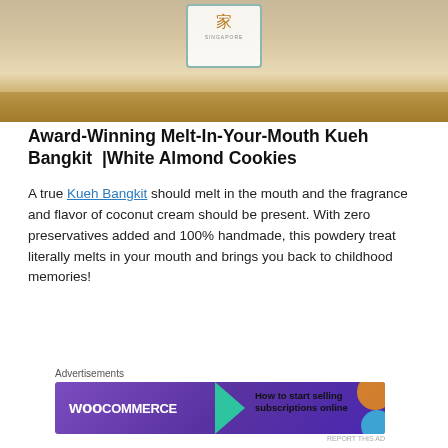[Figure (photo): A glass jar of Kueh Bangkit cookies with a Singapore label featuring a Chinese character and teal border, cookies visible inside the jar]
Award-Winning Melt-In-Your-Mouth Kueh Bangkit | White Almond Cookies
A true Kueh Bangkit should melt in the mouth and the fragrance and flavor of coconut cream should be present. With zero preservatives added and 100% handmade, this powdery treat literally melts in your mouth and brings you back to childhood memories!
Advertisements
[Figure (screenshot): WooCommerce advertisement banner: purple background with WooCommerce logo on left, teal arrow shape in center, text 'How to start selling subscriptions online' on right with orange and blue decorative shapes]